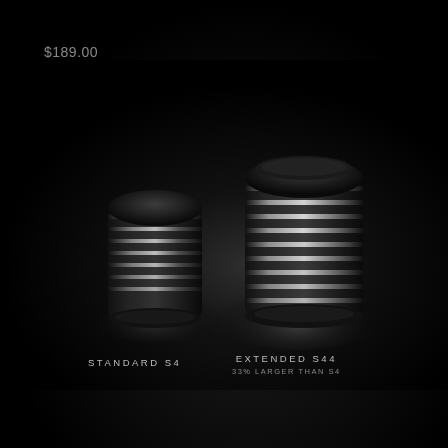$189.00
[Figure (photo): Two machined cylindrical components side by side on a dark background. Left: smaller Standard S4 with matte black top and threaded body with silver ridges. Right: larger Extended S44 with matte black top and wider threaded body with silver ridges, glowing under spotlight.]
STANDARD S4
EXTENDED S44
33% LARGER THAN S4